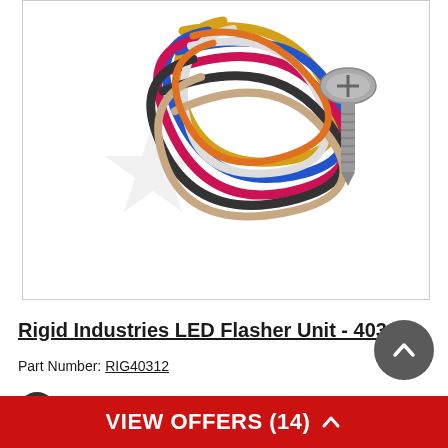[Figure (photo): Product photo showing a bundle of colorful wires/cables coiled together in various colors (yellow, blue, red/pink, white, black, tan/beige) with a metal screw visible to the right side. A faint star/watermark logo is visible in the background on the left side.]
Rigid Industries LED Flasher Unit - 40312
Part Number: RIG40312
[Figure (logo): Dark circular icon with a checkmark/arrow symbol]
UNIVERSAL FIT
VIEW OFFERS (14)